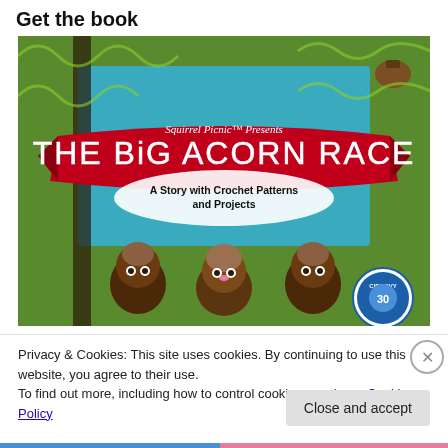Get the book
[Figure (photo): Book cover for 'The Big Acorn Race' by Squirrel Picnic. Features a red banner with white text 'THE BIG ACORN RACE' and subtitle 'A Story with Crochet Patterns and Projects'. Background shows crocheted green landscape with crocheted squirrel characters. CIPA EVY award seal visible in lower right.]
Privacy & Cookies: This site uses cookies. By continuing to use this website, you agree to their use.
To find out more, including how to control cookies, see here: Cookie Policy